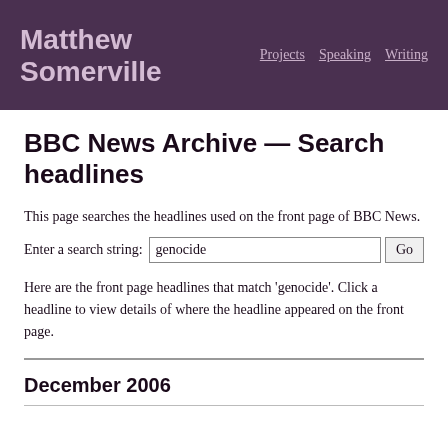Matthew Somerville — Projects  Speaking  Writing
BBC News Archive — Search headlines
This page searches the headlines used on the front page of BBC News.
Enter a search string: genocide  Go
Here are the front page headlines that match 'genocide'. Click a headline to view details of where the headline appeared on the front page.
December 2006